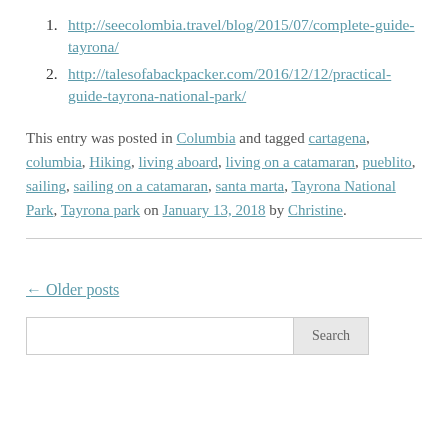1. http://seecolombia.travel/blog/2015/07/complete-guide-tayrona/
2. http://talesofabackpacker.com/2016/12/12/practical-guide-tayrona-national-park/
This entry was posted in Columbia and tagged cartagena, columbia, Hiking, living aboard, living on a catamaran, pueblito, sailing, sailing on a catamaran, santa marta, Tayrona National Park, Tayrona park on January 13, 2018 by Christine.
← Older posts